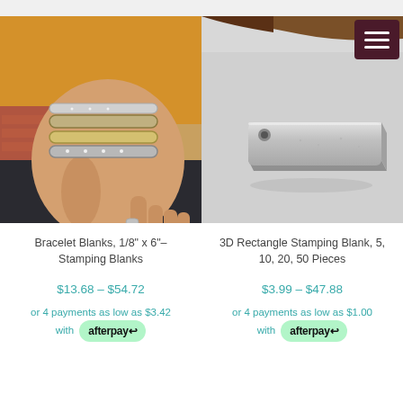[Figure (photo): Left product: Hand wearing multiple stacked bangle/cuff bracelets in gold and silver tones, with a yellow knit sweater background and dark jeans]
[Figure (photo): Right product: A single silver 3D rectangular stamping blank on a gray surface, with a piece of wood/driftwood in the background]
Bracelet Blanks, 1/8" x 6"–
Stamping Blanks
3D Rectangle Stamping Blank, 5, 10, 20, 50 Pieces
$13.68 – $54.72
$3.99 – $47.88
or 4 payments as low as $3.42 with afterpay
or 4 payments as low as $1.00 with afterpay